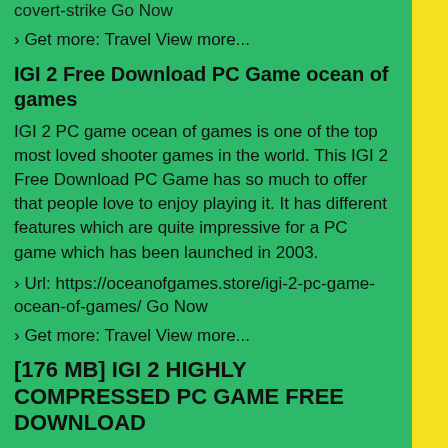covert-strike Go Now
› Get more: Travel View more...
IGI 2 Free Download PC Game ocean of games
IGI 2 PC game ocean of games is one of the top most loved shooter games in the world. This IGI 2 Free Download PC Game has so much to offer that people love to enjoy playing it. It has different features which are quite impressive for a PC game which has been launched in 2003.
› Url: https://oceanofgames.store/igi-2-pc-game-ocean-of-games/ Go Now
› Get more: Travel View more...
[176 MB] IGI 2 HIGHLY COMPRESSED PC GAME FREE DOWNLOAD
[176 MB] IGI 2 HIGHLY COMPRESSED PC